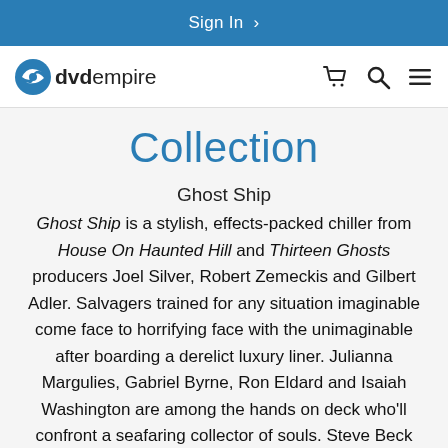Sign In >
[Figure (logo): DVD Empire logo with blue swoosh icon and text 'dvdempire', plus cart, search, and menu icons]
Collection
Ghost Ship
Ghost Ship is a stylish, effects-packed chiller from House On Haunted Hill and Thirteen Ghosts producers Joel Silver, Robert Zemeckis and Gilbert Adler. Salvagers trained for any situation imaginable come face to horrifying face with the unimaginable after boarding a derelict luxury liner. Julianna Margulies, Gabriel Byrne, Ron Eldard and Isaiah Washington are among the hands on deck who'll confront a seafaring collector of souls. Steve Beck (Thirteen Ghosts) directs this terror-de-f-rce. Bon voyage, fright